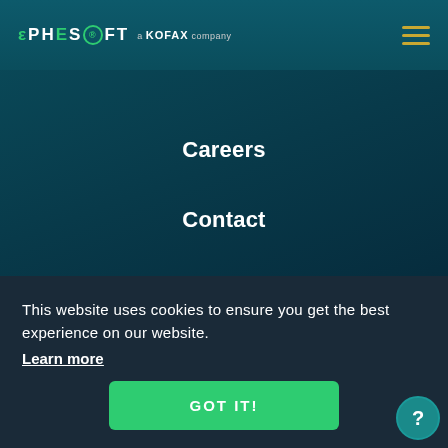EPHESOFT a KOFAX company
Careers
Contact
Privacy Policy
This website uses cookies to ensure you get the best experience on our website. Learn more
GOT IT!